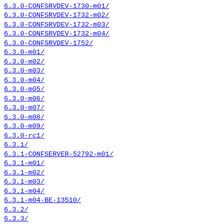6.3.0-CONFSRVDEV-1730-m01/
6.3.0-CONFSRVDEV-1732-m02/
6.3.0-CONFSRVDEV-1732-m03/
6.3.0-CONFSRVDEV-1732-m04/
6.3.0-CONFSRVDEV-1752/
6.3.0-m01/
6.3.0-m02/
6.3.0-m03/
6.3.0-m04/
6.3.0-m05/
6.3.0-m06/
6.3.0-m07/
6.3.0-m08/
6.3.0-m09/
6.3.0-rc1/
6.3.1/
6.3.1-CONFSERVER-52792-m01/
6.3.1-m01/
6.3.1-m02/
6.3.1-m03/
6.3.1-m04/
6.3.1-m04-BE-13510/
6.3.2/
6.3.3/
6.3.4/
6.4.0/
6.4.0-beta1/
6.4.0-CONFREL-1155-m01/
6.4.0-CONFREL-1155-m02/
6.4.0-CONFSRVDEV-1731/